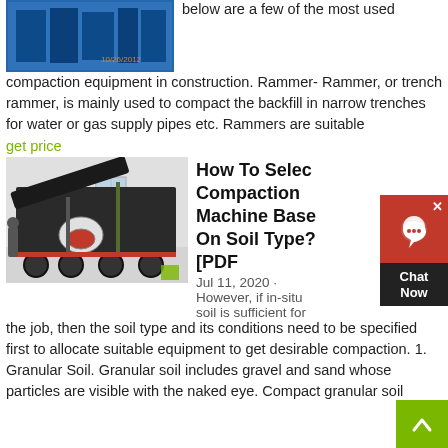[Figure (photo): Industrial compaction/mining machinery photo with date stamp 10/26/2012]
below are a few of the most used compaction equipment in construction. Rammer- Rammer, or trench rammer, is mainly used to compact the backfill in narrow trenches for water or gas supply pipes etc. Rammers are suitable
get price
[Figure (photo): Large mobile crushing/compaction machine on a trailer, photographed in an industrial warehouse]
How To Select Compaction Machine Based On Soil Type? [PDF
Jul 11, 2020 · However, if in-situ soil is sufficient for the job, then the soil type and its conditions need to be specified first to allocate suitable equipment to get desirable compaction. 1. Granular Soil. Granular soil includes gravel and sand whose particles are visible with the naked eye. Compact granular soil